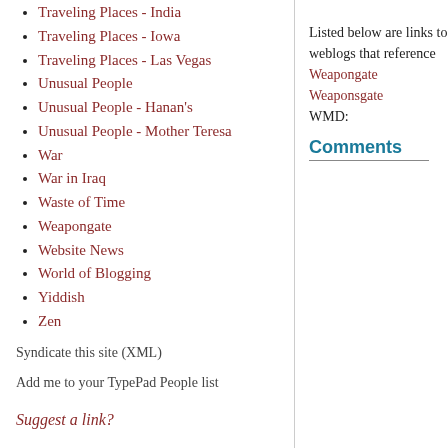Traveling Places - India
Traveling Places - Iowa
Traveling Places - Las Vegas
Unusual People
Unusual People - Hanan's
Unusual People - Mother Teresa
War
War in Iraq
Waste of Time
Weapongate
Website News
World of Blogging
Yiddish
Zen
Syndicate this site (XML)
Add me to your TypePad People list
Suggest a link?
Listed below are links to weblogs that reference Weapongate Weaponsgate WMD:
Comments